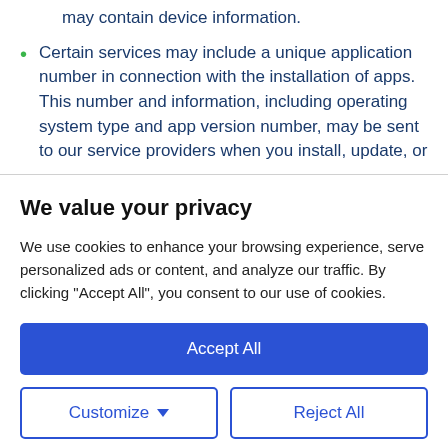may contain device information.
Certain services may include a unique application number in connection with the installation of apps. This number and information, including operating system type and app version number, may be sent to our service providers when you install, update, or
We value your privacy
We use cookies to enhance your browsing experience, serve personalized ads or content, and analyze our traffic. By clicking "Accept All", you consent to our use of cookies.
Accept All
Customize
Reject All